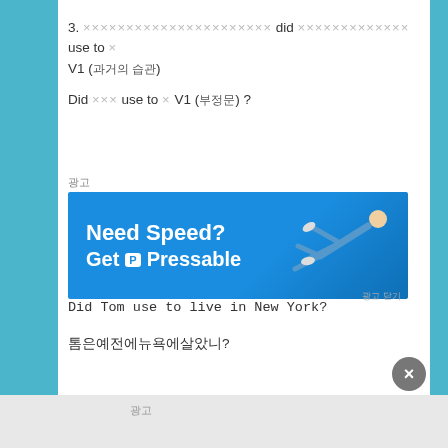3. ×××××××××××××××××××××× did ××××××××××××××× use to × V1 (과거의 습관)
Did ×××× use to × V1 (부정문) ?
[Figure (infographic): Advertisement banner: Need Speed? Get Pressable, with a person flying/diving on blue background]
Did Tom use to live in New York?
톰은예전에뉴욕에살았니?
광고